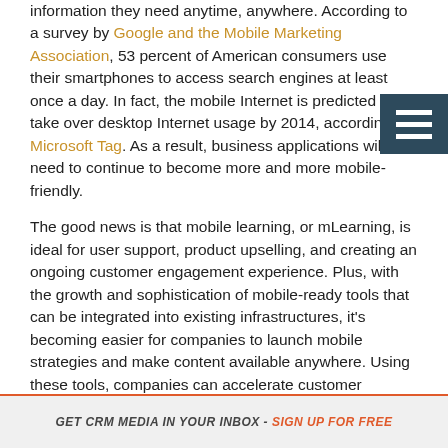information they need anytime, anywhere. According to a survey by Google and the Mobile Marketing Association, 53 percent of American consumers use their smartphones to access search engines at least once a day. In fact, the mobile Internet is predicted to take over desktop Internet usage by 2014, according to Microsoft Tag. As a result, business applications will need to continue to become more and more mobile-friendly.
The good news is that mobile learning, or mLearning, is ideal for user support, product upselling, and creating an ongoing customer engagement experience. Plus, with the growth and sophistication of mobile-ready tools that can be integrated into existing infrastructures, it's becoming easier for companies to launch mobile strategies and make content available anywhere. Using these tools, companies can accelerate customer engagement and provide rich customer experiences on any device. But it does require some strategy.
GET CRM MEDIA IN YOUR INBOX - SIGN UP FOR FREE